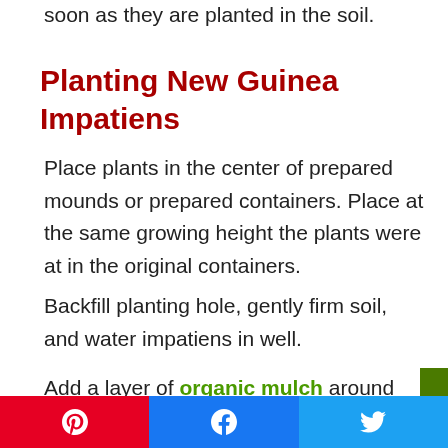soon as they are planted in the soil.
Planting New Guinea Impatiens
Place plants in the center of prepared mounds or prepared containers. Place at the same growing height the plants were at in the original containers.
Backfill planting hole, gently firm soil, and water impatiens in well.
Add a layer of organic mulch around each plant to retain soil moisture and prevent weed growth